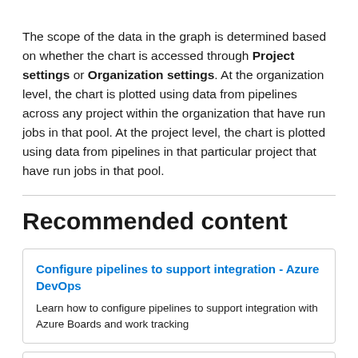The scope of the data in the graph is determined based on whether the chart is accessed through Project settings or Organization settings. At the organization level, the chart is plotted using data from pipelines across any project within the organization that have run jobs in that pool. At the project level, the chart is plotted using data from pipelines in that particular project that have run jobs in that pool.
Recommended content
Configure pipelines to support integration - Azure DevOps
Learn how to configure pipelines to support integration with Azure Boards and work tracking